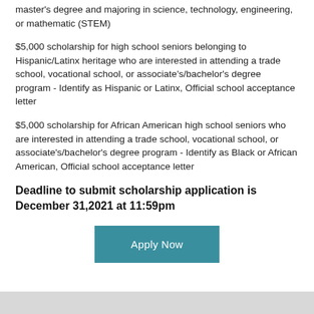master's degree and majoring in science, technology, engineering, or mathematic (STEM)
$5,000 scholarship for high school seniors belonging to Hispanic/Latinx heritage who are interested in attending a trade school, vocational school, or associate's/bachelor's degree program - Identify as Hispanic or Latinx, Official school acceptance letter
$5,000 scholarship for African American high school seniors who are interested in attending a trade school, vocational school, or associate's/bachelor's degree program - Identify as Black or African American, Official school acceptance letter
Deadline to submit scholarship application is December 31,2021 at 11:59pm
Apply Now